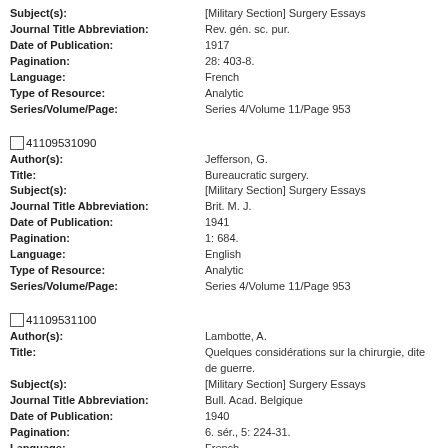Subject(s): [Military Section] Surgery Essays
Journal Title Abbreviation: Rev. gén. sc. pur.
Date of Publication: 1917
Pagination: 28: 403-8.
Language: French
Type of Resource: Analytic
Series/Volume/Page: Series 4/Volume 11/Page 953
41109531090
Author(s): Jefferson, G.
Title: Bureaucratic surgery.
Subject(s): [Military Section] Surgery Essays
Journal Title Abbreviation: Brit. M. J.
Date of Publication: 1941
Pagination: 1: 684.
Language: English
Type of Resource: Analytic
Series/Volume/Page: Series 4/Volume 11/Page 953
41109531100
Author(s): Lambotte, A.
Title: Quelques considérations sur la chirurgie, dite de guerre.
Subject(s): [Military Section] Surgery Essays
Journal Title Abbreviation: Bull. Acad. Belgique
Date of Publication: 1940
Pagination: 6. sér., 5: 224-31.
Language: French
Type of Resource: Analytic
Series/Volume/Page: Series 4/Volume 11/Page 953